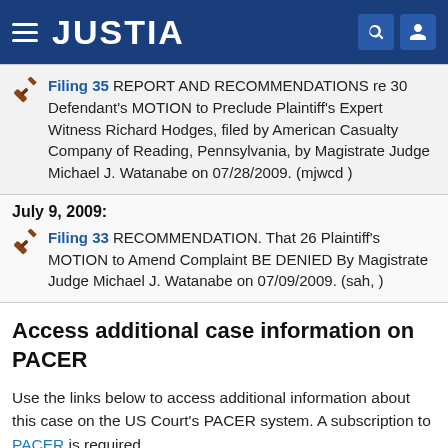JUSTIA
Filing 35  REPORT AND RECOMMENDATIONS re 30 Defendant's MOTION to Preclude Plaintiff's Expert Witness Richard Hodges, filed by American Casualty Company of Reading, Pennsylvania, by Magistrate Judge Michael J. Watanabe on 07/28/2009. (mjwcd )
July 9, 2009:
Filing 33  RECOMMENDATION. That 26 Plaintiff's MOTION to Amend Complaint BE DENIED By Magistrate Judge Michael J. Watanabe on 07/09/2009. (sah, )
Access additional case information on PACER
Use the links below to access additional information about this case on the US Court's PACER system. A subscription to PACER is required.